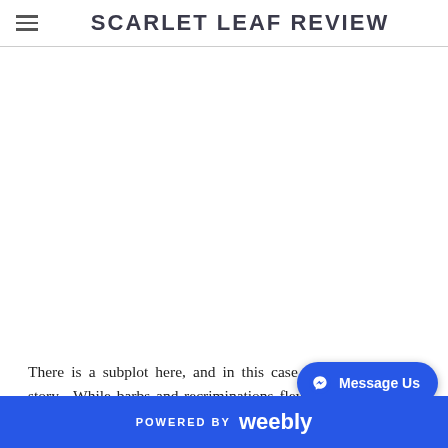SCARLET LEAF REVIEW
There is a subplot here, and in this case the subplot is the story.  While barbs and recriminations flew between Istanbul and Riyadh, what was striking was the yawning silence from T...
POWERED BY weebly